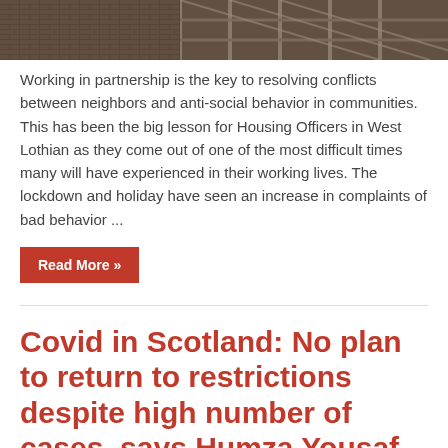[Figure (photo): Construction scaffolding on a building exterior, partially visible at top of page]
Working in partnership is the key to resolving conflicts between neighbors and anti-social behavior in communities. This has been the big lesson for Housing Officers in West Lothian as they come out of one of the most difficult times many will have experienced in their working lives. The lockdown and holiday have seen an increase in complaints of bad behavior ...
Read More »
Covid in Scotland: No plan to return to restrictions despite high number of cases, says Humza Yousaf